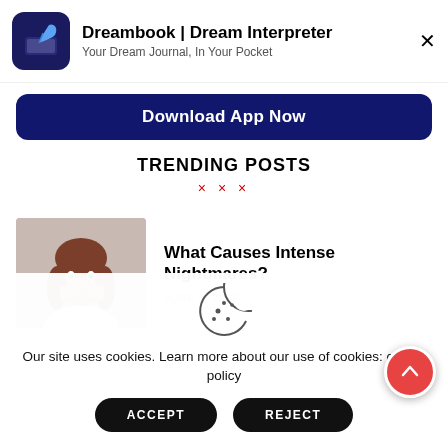Dreambook | Dream Interpreter — Your Dream Journal, In Your Pocket
Download App Now
TRENDING POSTS
× × ×
[Figure (photo): A young woman with long brown hair biting her fingernails with a frightened expression, against a light grey background.]
What Causes Intense Nightmares?
JUNE 1, 2022
[Figure (illustration): Cookie icon — a circle with bite taken out and small dots inside, representing a cookie/browser cookie.]
Our site uses cookies. Learn more about our use of cookies: cookie policy
ACCEPT
REJECT